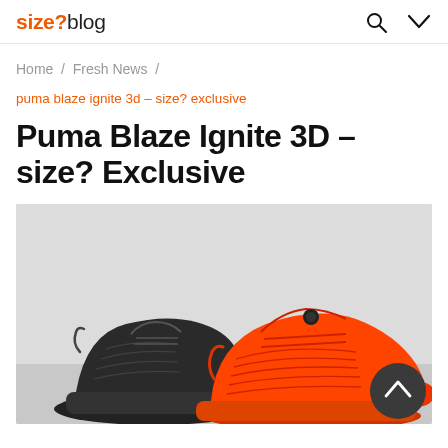size? blog
Home / Fresh News /
puma blaze ignite 3d – size? exclusive
Puma Blaze Ignite 3D – size? Exclusive
[Figure (photo): Two Puma Blaze Ignite 3D sneakers — one black and one orange/red — displayed on a light grey background. There is a dark circular back-to-top button in the bottom right corner.]